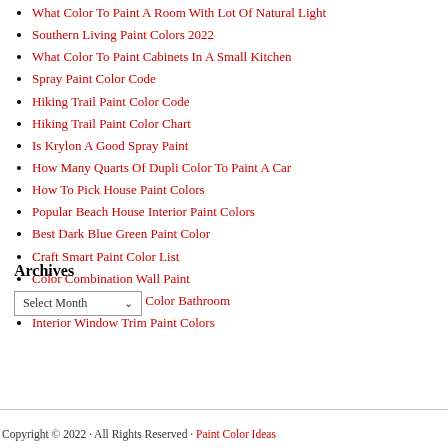What Color To Paint A Room With Lot Of Natural Light
Southern Living Paint Colors 2022
What Color To Paint Cabinets In A Small Kitchen
Spray Paint Color Code
Hiking Trail Paint Color Code
Hiking Trail Paint Color Chart
Is Krylon A Good Spray Paint
How Many Quarts Of Dupli Color To Paint A Car
How To Pick House Paint Colors
Popular Beach House Interior Paint Colors
Best Dark Blue Green Paint Color
Craft Smart Paint Color List
Color Combination Wall Paint
Turquoise Blue Paint Color Bathroom
Interior Window Trim Paint Colors
Archives
Copyright © 2022 · All Rights Reserved · Paint Color Ideas